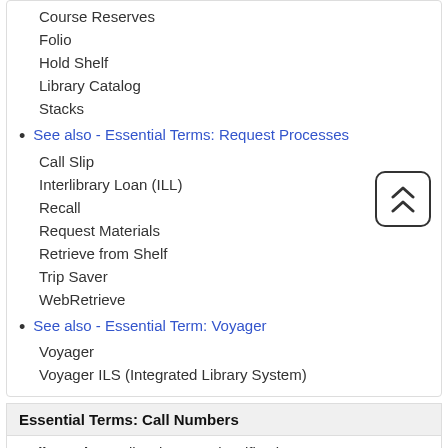Course Reserves
Folio
Hold Shelf
Library Catalog
Stacks
See also - Essential Terms: Request Processes
Call Slip
Interlibrary Loan (ILL)
Recall
Request Materials
Retrieve from Shelf
Trip Saver
WebRetrieve
See also - Essential Term: Voyager
Voyager
Voyager ILS (Integrated Library System)
Essential Terms: Call Numbers
Call Number - Libraries use classification systems to organize library materials. The classification systems produce a call number that provides a unique